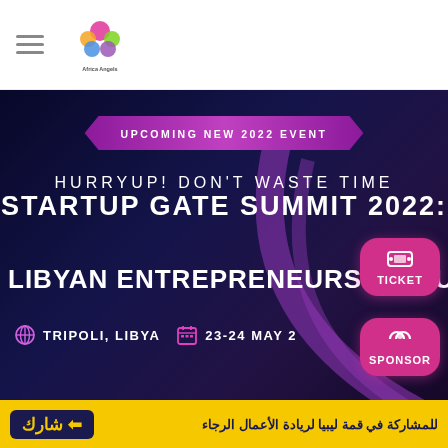Navigation header with hamburger menu and Africa Angels logo
[Figure (infographic): Dark blue promotional banner for Startup Gate Summit 2022 event with ribbon banner 'UPCOMING NEW 2022 EVENT', headline 'HURRYUP! DON'T WASTE TIME STARTUP GATE SUMMIT 2022:', subtitle 'LIBYAN ENTREPRENEURSHIP SU...' (cut off), location 'TRIPOLI, LIBYA', date '23-24 MAY 2', pink TICKET and SPONSOR buttons, purple arc decoration]
للمشاركة في قمة ليبيا لريادة الأعمال الرجاء